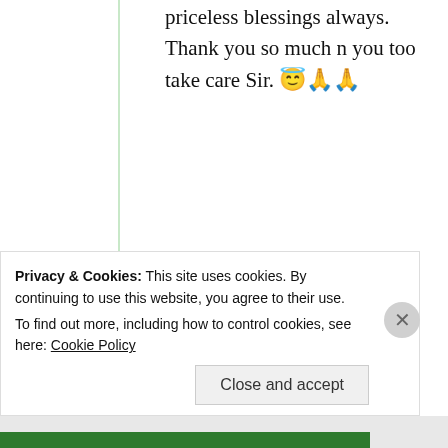priceless blessings always. Thank you so much n you too take care Sir. 😇🙏🙏
★ Liked by 1 person
Arun Singha
4th Sep 2021 at 6:18 pm
Privacy & Cookies: This site uses cookies. By continuing to use this website, you agree to their use.
To find out more, including how to control cookies, see here: Cookie Policy
Close and accept